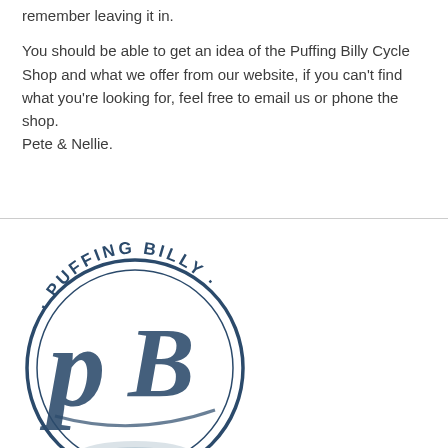remember leaving it in.

You should be able to get an idea of the Puffing Billy Cycle Shop and what we offer from our website, if you can't find what you're looking for, feel free to email us or phone the shop.
Pete & Nellie.
[Figure (logo): Circular logo for Puffing Billy Cycle Shop featuring stylized 'PB' monogram in dark navy blue with distressed/stamp texture, text 'PUFFING BILLY' arched along the top of the circle]